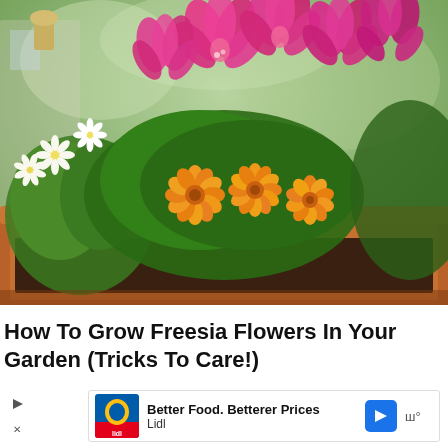[Figure (photo): Photo of a terracotta window box planter filled with colorful flowers: pink alstroemeria blooms at the top, yellow marigolds in the center, white daisy-like flowers on the left, and green foliage throughout. A small solar light is visible at the top-left. Blurred green background.]
How To Grow Freesia Flowers In Your Garden (Tricks To Care!)
[Figure (other): Advertisement banner for Lidl: yellow and blue Lidl logo on left, text 'Better Food. Betterer Prices' and 'Lidl', blue arrow navigation icon, mute/audio icon on right. Play/forward triangle on far left, X close button below.]